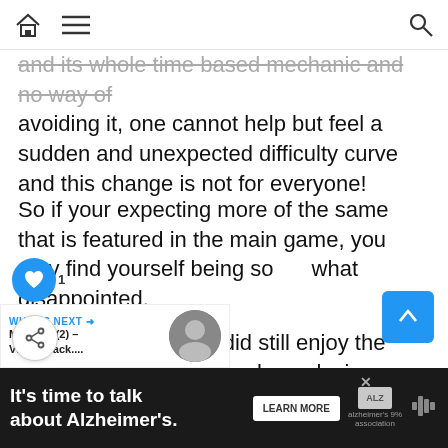[navigation bar with home icon, menu icon, and search icon]
and its whole time based mechanic and no way of avoiding it, one cannot help but feel a sudden and unexpected difficulty curve and this change is not for everyone!
So if your expecting more of the same that is featured in the main game, you may find yourself being somewhat disappointed.
Regardless we did still enjoy the DLC and we do so love playing as our personal favourite, Joe.
unfortunate that these unexpected changes does make the whole DLC feel rather disappointing
and with a bit of a repetitive aspect to it also
It's time to talk about Alzheimer's. LEARN MORE [alzheimer's association logo]